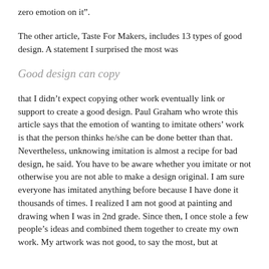zero emotion on it”.
The other article, Taste For Makers, includes 13 types of good design. A statement I surprised the most was
Good design can copy
that I didn’t expect copying other work eventually link or support to create a good design. Paul Graham who wrote this article says that the emotion of wanting to imitate others’ work is that the person thinks he/she can be done better than that. Nevertheless, unknowing imitation is almost a recipe for bad design, he said. You have to be aware whether you imitate or not otherwise you are not able to make a design original. I am sure everyone has imitated anything before because I have done it thousands of times. I realized I am not good at painting and drawing when I was in 2nd grade. Since then, I once stole a few people’s ideas and combined them together to create my own work. My artwork was not good, to say the most, but at